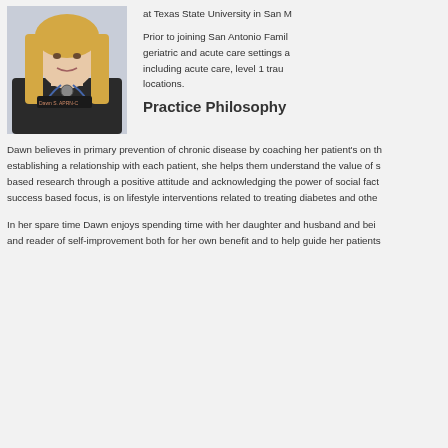[Figure (photo): Professional photo of Dawn, a nurse/nurse practitioner wearing dark scrubs with a stethoscope, with long blonde hair.]
at Texas State University in San M...
Prior to joining San Antonio Famil... geriatric and acute care settings a... including acute care, level 1 trau... locations.
Practice Philosophy
Dawn believes in primary prevention of chronic disease by coaching her patient's on th... establishing a relationship with each patient, she helps them understand the value of s... based research through a positive attitude and acknowledging the power of social fact... success based focus, is on lifestyle interventions related to treating diabetes and othe...
In her spare time Dawn enjoys spending time with her daughter and husband and bei... and reader of self-improvement both for her own benefit and to help guide her patients...